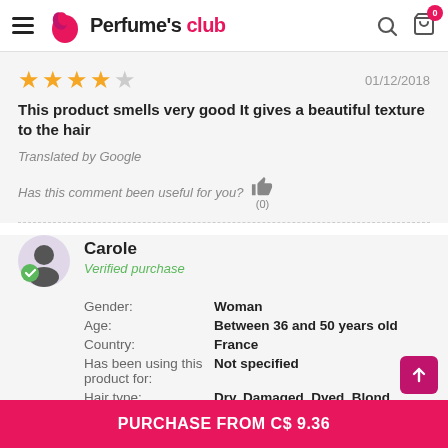Perfume's club
★★★★☆  01/12/2018
This product smells very good It gives a beautiful texture to the hair
Translated by Google
Has this comment been useful for you? 👍 (0)
Carole
Verified purchase
|  |  |
| --- | --- |
| Gender: | Woman |
| Age: | Between 36 and 50 years old |
| Country: | France |
| Has been using this product for: | Not specified |
| Hair type: | Dry, Damaged, Dyed, Blond |
PURCHASE FROM C$ 9.36